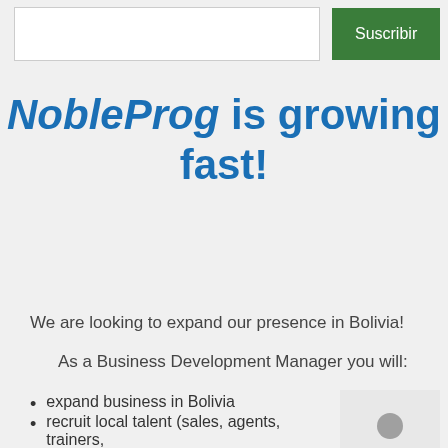[Figure (screenshot): Search input box (white rectangle) and a green 'Suscribir' button on a light grey background]
NobleProg is growing fast!
We are looking to expand our presence in Bolivia!
As a Business Development Manager you will:
expand business in Bolivia
recruit local talent (sales, agents, trainers, consultants)
recruit local trainers and consultants
[Figure (illustration): Grey silhouette icon of a person]